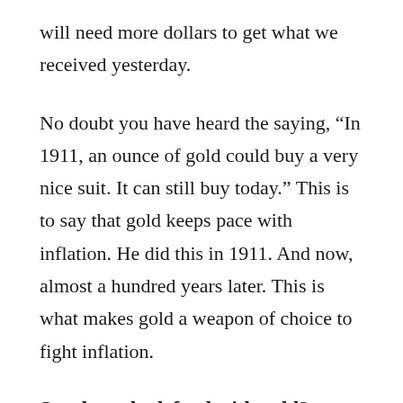will need more dollars to get what we received yesterday.
No doubt you have heard the saying, “In 1911, an ounce of gold could buy a very nice suit. It can still buy today.” This is to say that gold keeps pace with inflation. He did this in 1911. And now, almost a hundred years later. This is what makes gold a weapon of choice to fight inflation.
So why only defend with gold?